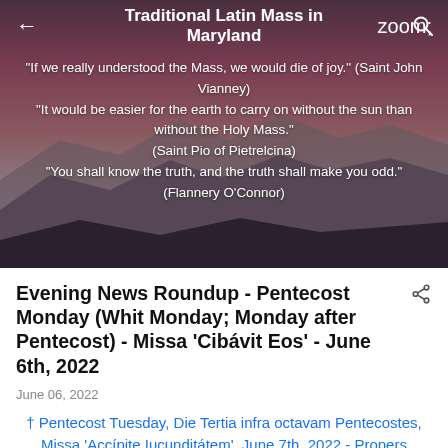Traditional Latin Mass in Maryland
[Figure (photo): Landscape photo of mountain silhouettes at dusk with purple and pink sky, serving as hero background]
"If we really understood the Mass, we would die of joy." (Saint John Vianney) "It would be easier for the earth to carry on without the sun than without the Holy Mass." (Saint Pio of Pietrelcina) "You shall know the truth, and the truth shall make you odd." (Flannery O'Connor)
Evening News Roundup - Pentecost Monday (Whit Monday; Monday after Pentecost) - Missa 'Cibávit Eos' - June 6th, 2022
June 06, 2022
† Pentecost Tuesday, Die Tertia infra octavam Pentecostes, Missa 'Accípite Iucunditátem', June 7th, 2022 - Propers